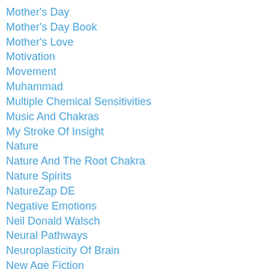Mother's Day
Mother's Day Book
Mother's Love
Motivation
Movement
Muhammad
Multiple Chemical Sensitivities
Music And Chakras
My Stroke Of Insight
Nature
Nature And The Root Chakra
Nature Spirits
NatureZap DE
Negative Emotions
Neil Donald Walsch
Neural Pathways
Neuroplasticity Of Brain
New Age Fiction
New Earth Energies
New Year Resolutions